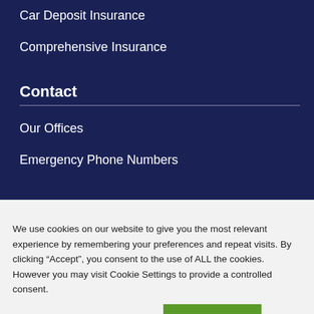Car Deposit Insurance
Comprehensive Insurance
Contact
Our Offices
Emergency Phone Numbers
We use cookies on our website to give you the most relevant experience by remembering your preferences and repeat visits. By clicking “Accept”, you consent to the use of ALL the cookies. However you may visit Cookie Settings to provide a controlled consent.
Cookie settings
ACCEPT